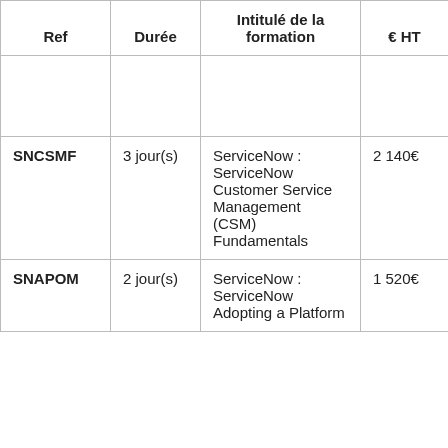| Ref | Durée | Intitulé de la formation | € HT |
| --- | --- | --- | --- |
|  |  |  |  |
| SNCSMF | 3 jour(s) | ServiceNow : ServiceNow Customer Service Management (CSM) Fundamentals | 2 140€ |
| SNAPOM | 2 jour(s) | ServiceNow : ServiceNow Adopting a Platform | 1 520€ |